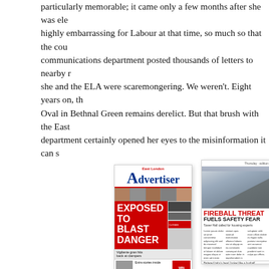particularly memorable; it came only a few months after she was elected, highly embarrassing for Labour at that time, so much so that the communications department posted thousands of letters to nearby residents claiming she and the ELA were scaremongering. We weren't. Eight years on, the Oval in Bethnal Green remains derelict. But that brush with the East department certainly opened her eyes to the misinformation it can s
[Figure (photo): Front page of East London Advertiser newspaper with headline 'EXPOSED TO BLAST DANGER' in white text on red background, with subheading 'Vigilante gran hits back at clampers']
[Figure (photo): Front page of another newspaper with red headline 'FIREBALL THREAT FUELS SAFETY FEAR' and aerial photograph at top]
Here's her final fond farewell (she declined to offer any views on the Lutfur Rahman/Labour fallout, but she does share a quite pointed o system of directly elected mayors; perhaps there's a hidden meaning
I was elected to Tower Hamlets Council on 4 May 2006. On Ju I attended a memorial service for the victims of the London b previous year. The then Assistant Chief Executive, Sara Willia too and I asked her what she had been doing at the same tim